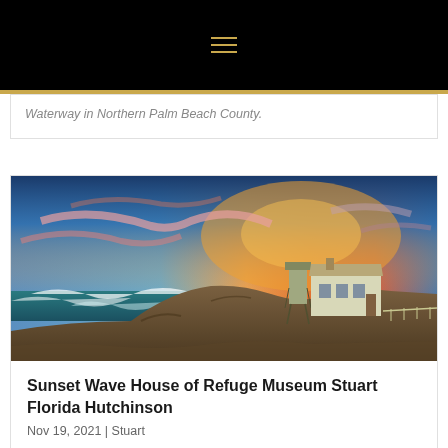navigation bar with hamburger menu icon
Waterway in Northern Palm Beach County.
[Figure (photo): Sunset photo of House of Refuge Museum at Stuart Florida Hutchinson Island, showing waves crashing on rocks in foreground, a lookout tower and historic building on rocky bluff, dramatic orange and blue sunset sky with clouds.]
Sunset Wave House of Refuge Museum Stuart Florida Hutchinson
Nov 19, 2021 | Stuart